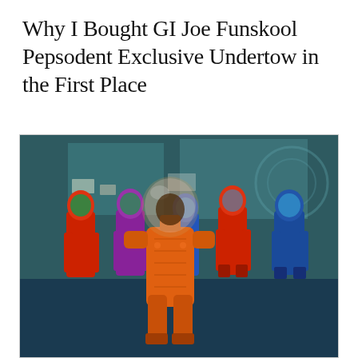Why I Bought GI Joe Funskool Pepsodent Exclusive Undertow in the First Place
[Figure (photo): Photograph of GI Joe action figures arranged in a scene. In the foreground, an orange figure (Undertow) with a clear dome helmet faces away from the camera. Behind it are several blue and red action figures in a dark teal/green background setting with blurred panels and shapes.]